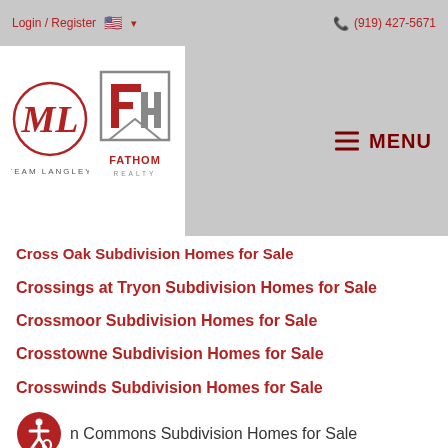Login / Register  🇺🇸 ▾     📞 (919) 427-5671
[Figure (logo): Team Langley and Fathom Realty logos in white box on grey header bar, with MENU hamburger button on right]
Cross Oak Subdivision Homes for Sale (partial, cut off)
Crossings at Tryon Subdivision Homes for Sale
Crossmoor Subdivision Homes for Sale
Crosstowne Subdivision Homes for Sale
Crosswinds Subdivision Homes for Sale
n Commons Subdivision Homes for Sale